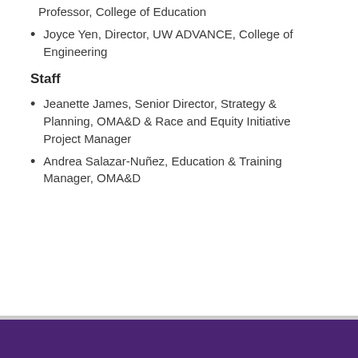Professor, College of Education
Joyce Yen, Director, UW ADVANCE, College of Engineering
Staff
Jeanette James, Senior Director, Strategy & Planning, OMA&D & Race and Equity Initiative Project Manager
Andrea Salazar-Nuñez, Education & Training Manager, OMA&D